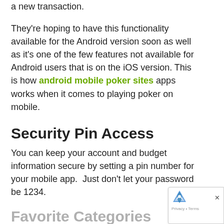a new transaction.
They're hoping to have this functionality available for the Android version soon as well as it's one of the few features not available for Android users that is on the iOS version. This is how android mobile poker sites apps works when it comes to playing poker on mobile.
Security Pin Access
You can keep your account and budget information secure by setting a pin number for your mobile app.  Just don't let your password be 1234.
Favorite Categories
In the full featured YNAB apps you can set your